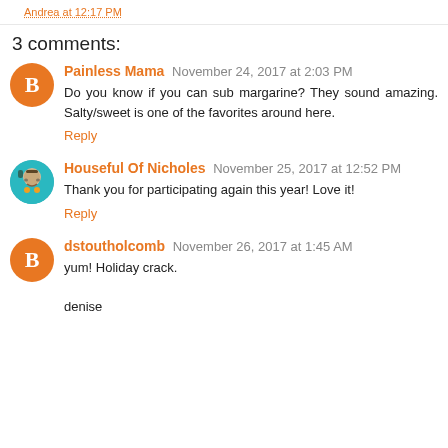Andrea at 12:17 PM
3 comments:
Painless Mama November 24, 2017 at 2:03 PM
Do you know if you can sub margarine? They sound amazing. Salty/sweet is one of the favorites around here.
Reply
Houseful Of Nicholes November 25, 2017 at 12:52 PM
Thank you for participating again this year! Love it!
Reply
dstoutholcomb November 26, 2017 at 1:45 AM
yum! Holiday crack.

denise